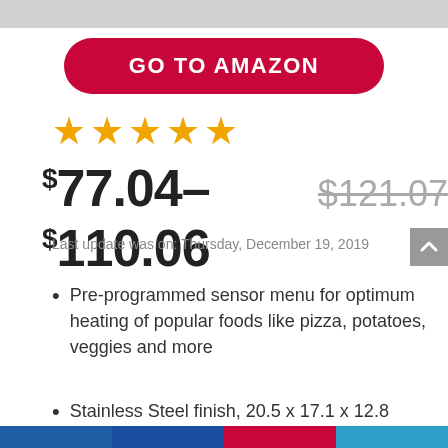[Figure (other): GO TO AMAZON button — crimson red pill-shaped button with white bold uppercase text]
[Figure (other): Four orange star rating icons]
$77.04–$110.06 $121.07
Last update was on: Thursday, December 19, 2019
Pre-programmed sensor menu for optimum heating of popular foods like pizza, potatoes, veggies and more
Stainless Steel finish, 20.5 x 17.1 x 12.8